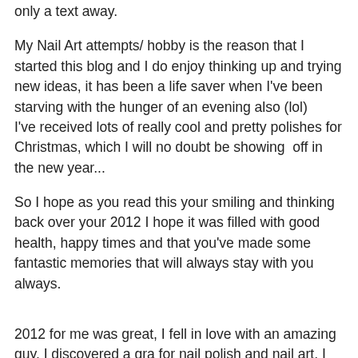only a text away.
My Nail Art attempts/ hobby is the reason that I started this blog and I do enjoy thinking up and trying new ideas, it has been a life saver when I've been starving with the hunger of an evening also (lol)
I've received lots of really cool and pretty polishes for Christmas, which I will no doubt be showing  off in the new year...
So I hope as you read this your smiling and thinking back over your 2012 I hope it was filled with good health, happy times and that you've made some fantastic memories that will always stay with you always.
2012 for me was great, I fell in love with an amazing guy, I discovered a gra for nail polish and nail art, I went to Westlifes Last Ever Concert (sob, sob), I started this blog, I went on holidays, I welcomed my lil niece into our family and I got the all clear on my back from the Chiropractor.
My best friend bought a house, got engaged and got her